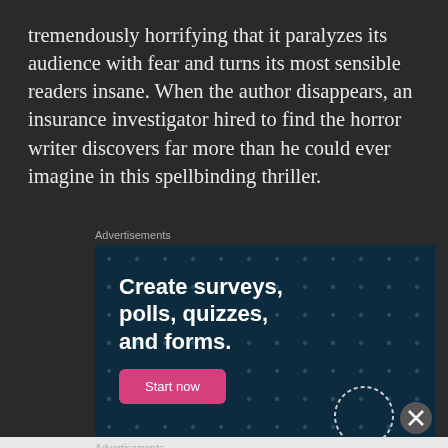tremendously horrifying that it paralyzes its audience with fear and turns its most sensible readers insane. When the author disappears, an insurance investigator hired to find the horror writer discovers far more than he could ever imagine in this spellbinding thriller.
Advertisements
[Figure (screenshot): Advertisement banner with dark blue dotted background. Text reads 'Create surveys, polls, quizzes, and forms.' with a pink 'Start now' button.]
Advertisements
[Figure (screenshot): DuckDuckGo advertisement banner with orange background on left side reading 'Search, browse, and email with more privacy. All in One Free App' and DuckDuckGo logo on black right side.]